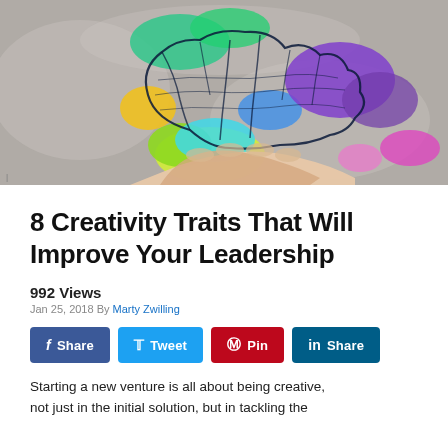[Figure (illustration): Colorful brain illustration with paint splashes in green, yellow, cyan, blue, purple, pink colors, held above an outstretched hand, on a concrete texture background.]
8 Creativity Traits That Will Improve Your Leadership
992 Views
Jan 25, 2018 By Marty Zwilling
Share  Tweet  Pin  Share
Starting a new venture is all about being creative, not just in the initial solution, but in tackling the